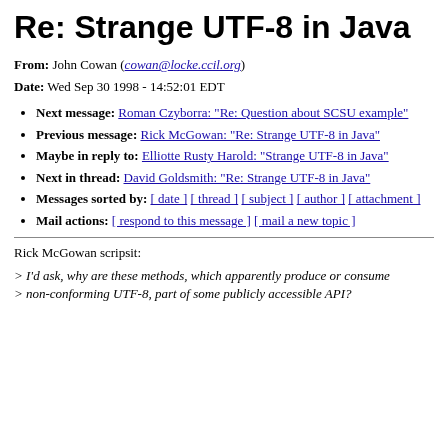Re: Strange UTF-8 in Java
From: John Cowan (cowan@locke.ccil.org)
Date: Wed Sep 30 1998 - 14:52:01 EDT
Next message: Roman Czyborra: "Re: Question about SCSU example"
Previous message: Rick McGowan: "Re: Strange UTF-8 in Java"
Maybe in reply to: Elliotte Rusty Harold: "Strange UTF-8 in Java"
Next in thread: David Goldsmith: "Re: Strange UTF-8 in Java"
Messages sorted by: [ date ] [ thread ] [ subject ] [ author ] [ attachment ]
Mail actions: [ respond to this message ] [ mail a new topic ]
Rick McGowan scripsit:
> I'd ask, why are these methods, which apparently produce or consume
> non-conforming UTF-8, part of some publicly accessible API?